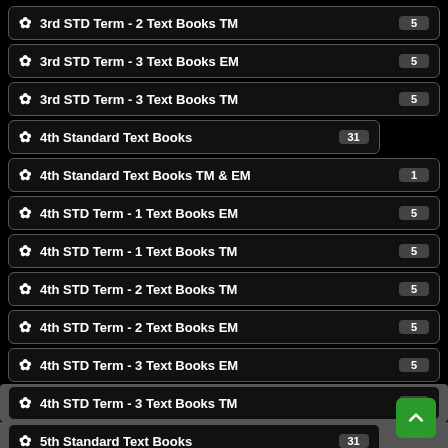3rd STD Term - 2 Text Books TM  5
3rd STD Term - 3 Text Books EM  5
3rd STD Term - 3 Text Books TM  5
4th Standard Text Books  31
4th Standard Text Books TM & EM  1
4th STD Term - 1 Text Books EM  5
4th STD Term - 1 Text Books TM  5
4th STD Term - 2 Text Books TM  5
4th STD Term - 2 Text Books EM  5
4th STD Term - 3 Text Books EM  5
4th STD Term - 3 Text Books TM  5
5th Standard Text Books  31
5th Standard Text Books TM & EM  1
5th STD Term - 1 Text Books EM  5